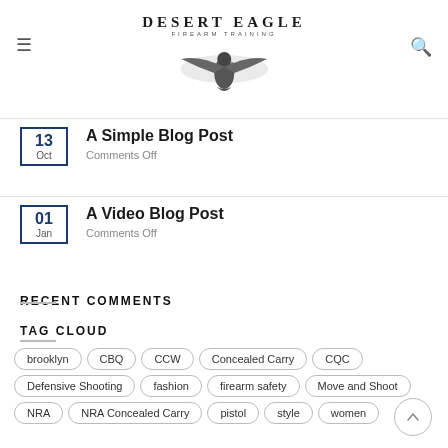Desert Eagle Firearm Training
13 Oct — A Simple Blog Post — Comments Off
01 Jan — A Video Blog Post — Comments Off
RECENT COMMENTS
TAG CLOUD
brooklyn
CBQ
CCW
Concealed Carry
CQC
Defensive Shooting
fashion
firearm safety
Move and Shoot
NRA
NRA Concealed Carry
pistol
style
women